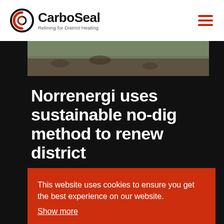[Figure (logo): CarboSeal logo with circular ring icon and text 'CarboSeal' with tagline 'Relining for District Heating']
[Figure (photo): Partial photo showing construction/digging site with CarboSeal branding visible]
Norrenergi uses sustainable no-dig method to renew district
This website uses cookies to ensure you get the best experience on our website.
Show more
Accept